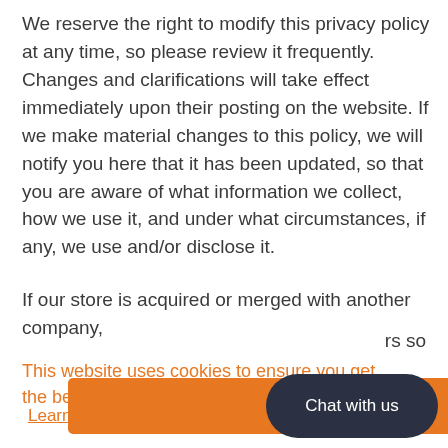We reserve the right to modify this privacy policy at any time, so please review it frequently. Changes and clarifications will take effect immediately upon their posting on the website. If we make material changes to this policy, we will notify you here that it has been updated, so that you are aware of what information we collect, how we use it, and under what circumstances, if any, we use and/or disclose it.
If our store is acquired or merged with another company,
rs so
This website uses cookies to ensure you get the best experience on our website.
Learn More
Got it!
Chat with us